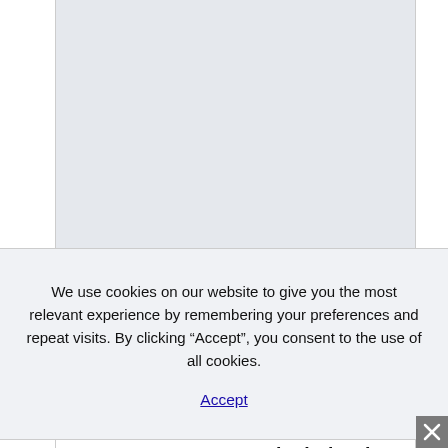[Figure (screenshot): Top portion of a webpage showing a light gray/blue content area, partially visible, with left and right white border columns]
We use cookies on our website to give you the most relevant experience by remembering your preferences and repeat visits. By clicking “Accept”, you consent to the use of all cookies.
Accept
new parents too – particularly when it appears as though they’re really
overstocked on baby stuff! New parents will like the idea of pamper items like bath teas, body oil and candles. It’s actually a